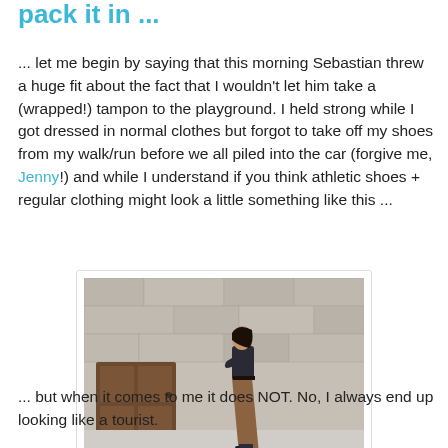pack it in ...
... let me begin by saying that this morning Sebastian threw a huge fit about the fact that I wouldn't let him take a (wrapped!) tampon to the playground. I held strong while I got dressed in normal clothes but forgot to take off my shoes from my walk/run before we all piled into the car (forgive me, Jenny!) and while I understand if you think athletic shoes + regular clothing might look a little something like this ...
[Figure (photo): Woman standing in profile view against a stone wall, wearing a dark jacket, wide-leg brown/tan trousers, and black sneakers, with a dark wooden door visible in the background.]
... but when it comes to me it does NOT. No, I always end up looking like a tourist.